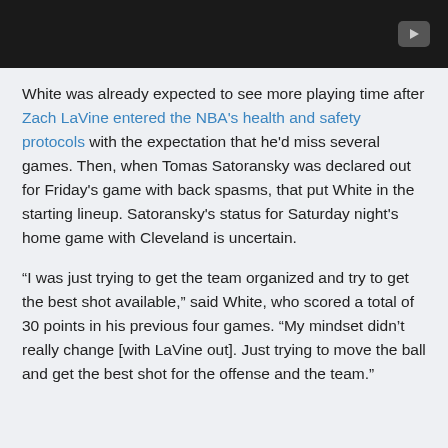[Figure (screenshot): Dark video player bar with a play button icon in the top-right corner]
White was already expected to see more playing time after Zach LaVine entered the NBA's health and safety protocols with the expectation that he'd miss several games. Then, when Tomas Satoransky was declared out for Friday's game with back spasms, that put White in the starting lineup. Satoransky's status for Saturday night's home game with Cleveland is uncertain.
“I was just trying to get the team organized and try to get the best shot available,” said White, who scored a total of 30 points in his previous four games. “My mindset didn’t really change [with LaVine out]. Just trying to move the ball and get the best shot for the offense and the team.”